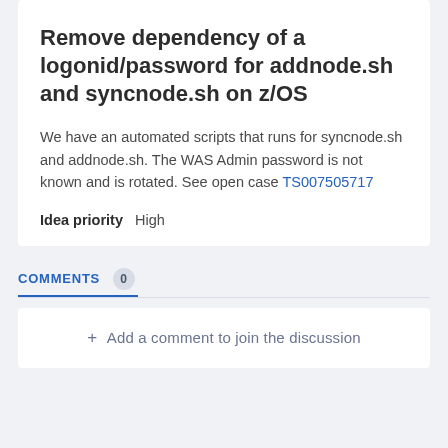Remove dependency of a logonid/password for addnode.sh and syncnode.sh on z/OS
We have an automated scripts that runs for syncnode.sh and addnode.sh. The WAS Admin password is not known and is rotated. See open case TS007505717
Idea priority   High
COMMENTS 0
+ Add a comment to join the discussion